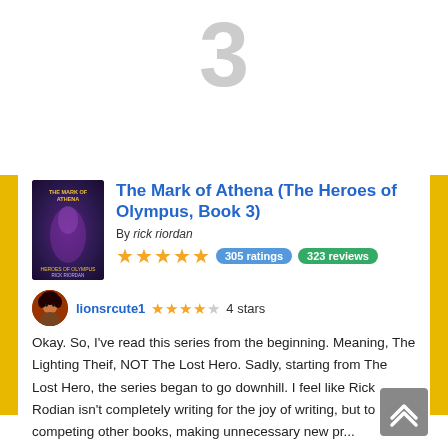3
[Figure (illustration): Book cover for The Mark of Athena (The Heroes of Olympus, Book 3) — dark purple fantasy illustration]
The Mark of Athena (The Heroes of Olympus, Book 3)
By rick riordan
★★★★★  305 ratings  323 reviews
lionsrcute1  ★★★★☆  4 stars
Okay. So, I've read this series from the beginning. Meaning, The Lighting Theif, NOT The Lost Hero. Sadly, starting from The Lost Hero, the series began to go downhill. I feel like Rick Rodian isn't completely writing for the joy of writing, but to competing other books, making unnecessary new pr...
Read book review ⇒